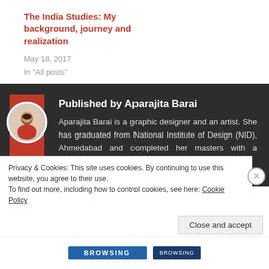The India Studies: My background, journey and realization
May 18, 2017
In "All posts"
Published by Aparajita Barai
Aparajita Barai is a graphic designer and an artist. She has graduated from National Institute of Design (NID), Ahmedabad and completed her masters with a distinction in
Privacy & Cookies: This site uses cookies. By continuing to use this website, you agree to their use.
To find out more, including how to control cookies, see here: Cookie Policy
Close and accept